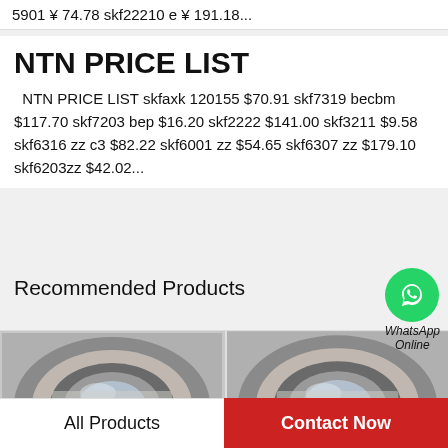5901 ¥ 74.78 skf22210 e ¥ 191.18...
NTN PRICE LIST
NTN PRICE LIST skfaxk 120155 $70.91 skf7319 becbm $117.70 skf7203 bep $16.20 skf2222 $141.00 skf3211 $9.58 skf6316 zz c3 $82.22 skf6001 zz $54.65 skf6307 zz $179.10 skf6203zz $42.02...
Recommended Products
[Figure (photo): Bearing product photo left]
[Figure (photo): Bearing product photo right]
[Figure (logo): WhatsApp Online icon — green circle with phone handset, labeled WhatsApp Online]
All Products
Contact Now